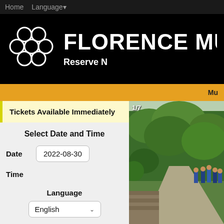Home  Language
Florence Mus
Reserve N
Mu
Tickets Available Immediately
Select Date and Time
Date  2022-08-30
Time
Language
English
[Figure (photo): Outdoor photo showing people walking along a road with lush green trees/foliage on one side and a stone wall on the other; image counter shows 1/7]